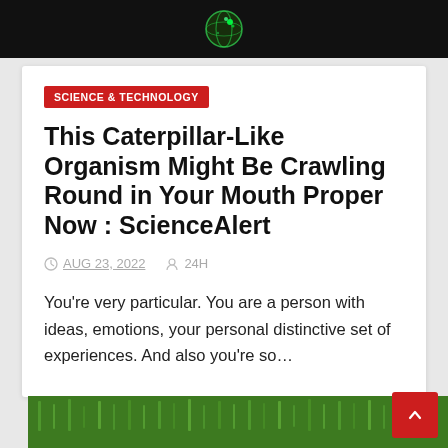[Figure (illustration): Black top banner with a glowing green globe/earth icon centered]
SCIENCE & TECHNOLOGY
This Caterpillar-Like Organism Might Be Crawling Round in Your Mouth Proper Now : ScienceAlert
AUG 23, 2022   24H
You're very particular. You are a person with ideas, emotions, your personal distinctive set of experiences. And also you're so...
[Figure (photo): Green grass / lawn at the bottom of the page]